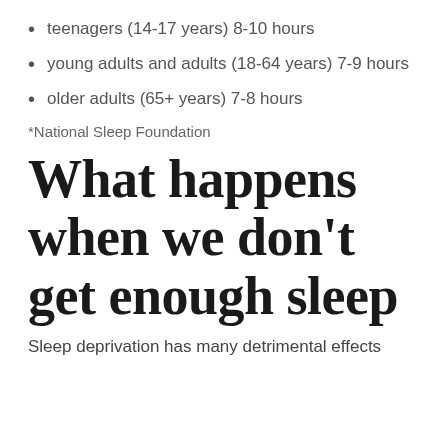teenagers (14-17 years) 8-10 hours
young adults and adults (18-64 years) 7-9 hours
older adults (65+ years) 7-8 hours
*National Sleep Foundation
What happens when we don't get enough sleep
Sleep deprivation has many detrimental effects